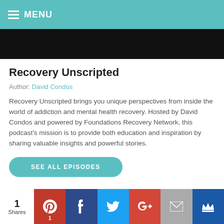MENU
[Figure (photo): Black banner/image area at top of page]
Recovery Unscripted
Author: David Condos
Recovery Unscripted brings you unique perspectives from inside the world of addiction and mental health recovery. Hosted by David Condos and powered by Foundations Recovery Network, this podcast's mission is to provide both education and inspiration by sharing valuable insights and powerful stories.
SEE ALL EPISODES
1 Shares | Pinterest | Facebook | Twitter | Google+ | Email | Crown